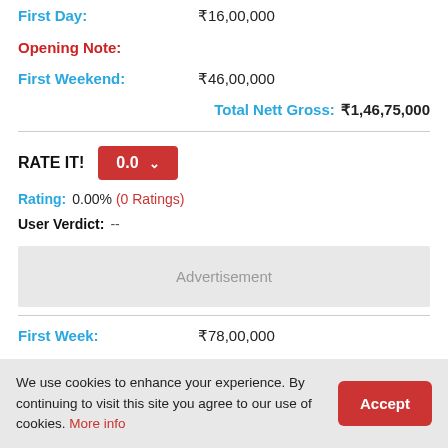First Day: ₹16,00,000
Opening Note:
First Weekend: ₹46,00,000
Total Nett Gross: ₹1,46,75,000
RATE IT! 0.0
Rating: 0.00% (0 Ratings)
User Verdict: --
Advertisement
First Week: ₹78,00,000
Budget: ₹2,25,00,000
India Gross: ₹2,50,00,000
We use cookies to enhance your experience. By continuing to visit this site you agree to our use of cookies. More info